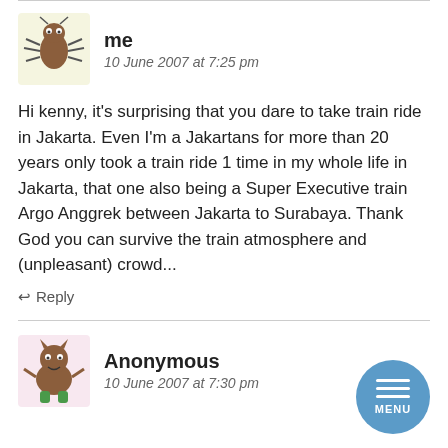[Figure (illustration): Bug/tick cartoon avatar with brown body and legs on pale yellow background]
me
10 June 2007 at 7:25 pm
Hi kenny, it's surprising that you dare to take train ride in Jakarta. Even I'm a Jakartans for more than 20 years only took a train ride 1 time in my whole life in Jakarta, that one also being a Super Executive train Argo Anggrek between Jakarta to Surabaya. Thank God you can survive the train atmosphere and (unpleasant) crowd...
↩ Reply
[Figure (illustration): Monster cartoon avatar with brown body and green feet on pink background]
Anonymous
10 June 2007 at 7:30 pm